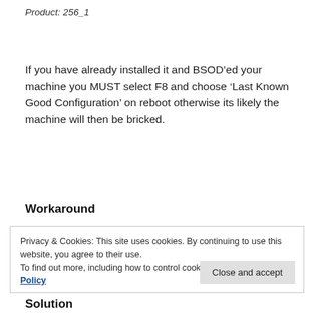Product: 256_1
If you have already installed it and BSOD’ed your machine you MUST select F8 and choose ‘Last Known Good Configuration’ on reboot otherwise its likely the machine will then be bricked.
Workaround
Privacy & Cookies: This site uses cookies. By continuing to use this website, you agree to their use.
To find out more, including how to control cookies, see here: Cookie Policy
Solution